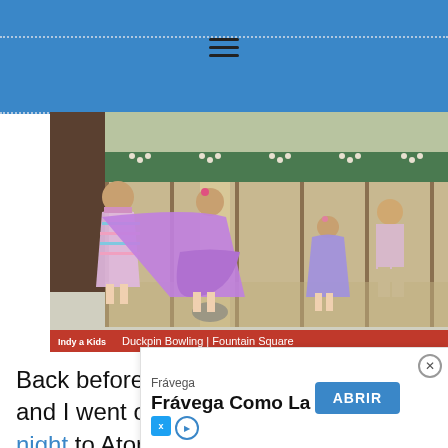Navigation header with hamburger menu
[Figure (photo): Four children standing at a duckpin bowling alley viewed from behind, wearing colorful dresses and pink outfits, with bowling lanes and pins visible in the background. A red caption bar reads: Indy a Kids | Duckpin Bowling | Fountain Square]
Back before we had kids, my husband and I went on a Valentine's Day date night to Atomic/Action Duckpin Bowling in Fountain Square... ...first t...
[Figure (screenshot): Advertisement overlay: Frávega brand ad saying 'Frávega Como La Familia' with an ABRIR button and close X icon, plus ad network icons at bottom left.]